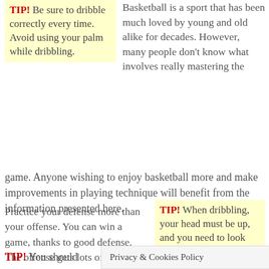TIP! Be sure to dribble correctly every time. Avoid using your palm while dribbling.
Basketball is a sport that has been much loved by young and old alike for decades. However, many people don't know what involves really mastering the game. Anyone wishing to enjoy basketball more and make improvements in playing technique will benefit from the information presented here.
Practice your defense more than your offense. You can win a game, thanks to good defense. The offense gets lots of attention, but if the defense is lacking no basketball team will ever win a game.
TIP! When dribbling, your head must be up, and you need to look forward. If you have to ever look at the ball while dribbling, then you haven't practiced that
Privacy & Cookies Policy
TIP! You should